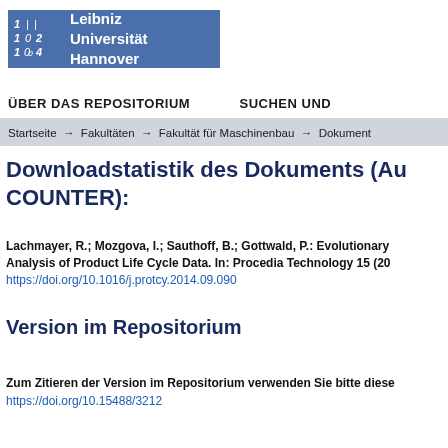[Figure (logo): Leibniz Universität Hannover logo with blue background, stylized numbers 1024 on left, institution name on right]
ÜBER DAS REPOSITORIUM    SUCHEN UND
Startseite → Fakultäten → Fakultät für Maschinenbau → Dokument
Downloadstatistik des Dokuments (Au COUNTER):
Lachmayer, R.; Mozgova, I.; Sauthoff, B.; Gottwald, P.: Evolutionary Analysis of Product Life Cycle Data. In: Procedia Technology 15 (20 https://doi.org/10.1016/j.protcy.2014.09.090
Version im Repositorium
Zum Zitieren der Version im Repositorium verwenden Sie bitte diese https://doi.org/10.15488/3212